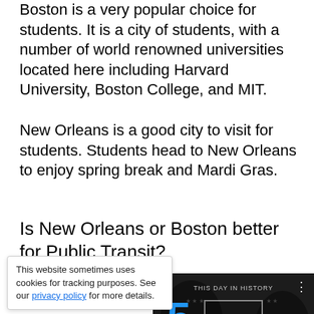Boston is a very popular choice for students. It is a city of students, with a number of world renowned universities located here including Harvard University, Boston College, and MIT.
New Orleans is a good city to visit for students. Students head to New Orleans to enjoy spring break and Mardi Gras.
Is New Orleans or Boston better for Public Transit?
Boston generally offers a better public transit system than New Orleans...
This website sometimes uses cookies for tracking purposes. See our privacy policy for more details.
[Figure (screenshot): Video player overlay showing 'This Day in History' with NFL background imagery. Displays the number 5 in blue and the month AUGUST. Has play button, mute icon, progress bar, and fullscreen controls.]